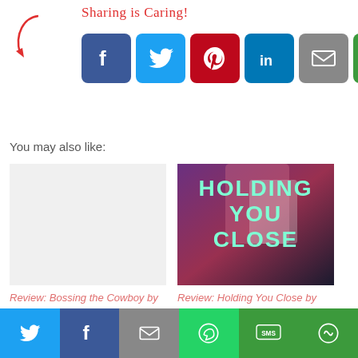[Figure (infographic): Sharing is caring! text with arrow and social media share buttons: Facebook, Twitter, Pinterest, LinkedIn, Email, More]
You may also like:
[Figure (illustration): Book cover placeholder for Bossing the Cowboy by Kennedy Fox]
Review: Bossing the Cowboy by Kennedy Fox
[Figure (photo): Book cover for Holding You Close by Kennedy Fox showing shirtless figures with teal text]
Review: Holding You Close by Kennedy Fox
[Figure (infographic): Bottom share bar with Twitter, Facebook, Email, WhatsApp, SMS, More buttons]